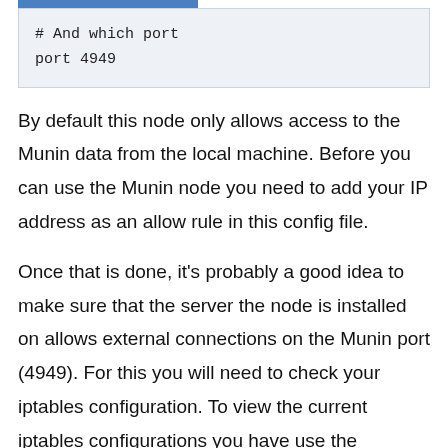[Figure (screenshot): Blue bar at top of code block]
# And which port
port 4949
By default this node only allows access to the Munin data from the local machine. Before you can use the Munin node you need to add your IP address as an allow rule in this config file.
Once that is done, it's probably a good idea to make sure that the server the node is installed on allows external connections on the Munin port (4949). For this you will need to check your iptables configuration. To view the current iptables configurations you have use the following command (the sudo is important).